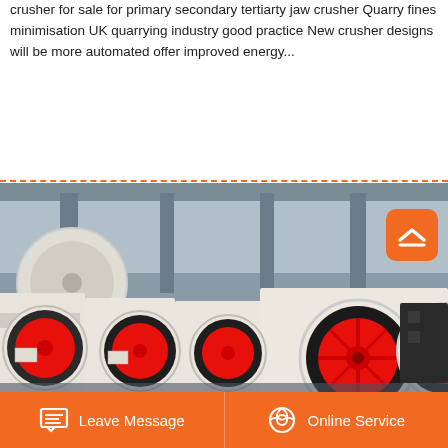crusher for sale for primary secondary tertiarty jaw crusher Quarry fines minimisation UK quarrying industry good practice New crusher designs will be more automated offer improved energy...
READ MORE
[Figure (photo): Row of industrial jaw crushers with large red and black flywheel wheels in a factory/warehouse setting. Machines are white/cream colored with prominent red-trimmed rubber-tired wheels.]
Leave Message
Online Service